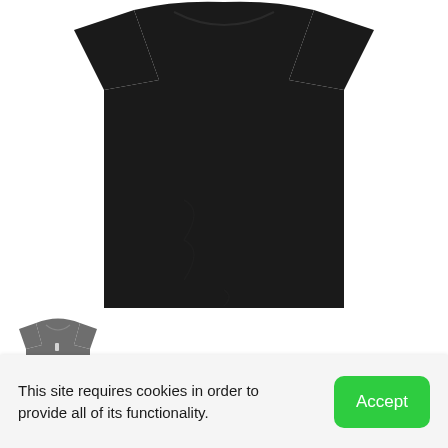[Figure (photo): Large black t-shirt laid flat, front view, on white background]
[Figure (photo): Small thumbnail image of a grey t-shirt]
This site requires cookies in order to provide all of its functionality.